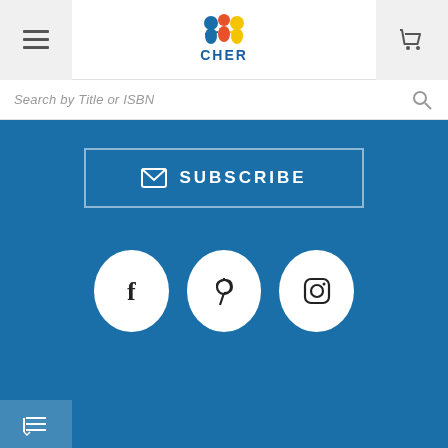[Figure (logo): CHER logo with colorful figures and text]
Search by Title or ISBN
[Figure (infographic): Blue subscribe button with envelope icon and social media icons (Facebook, Pinterest, Instagram) on blue background]
CONTACT INFO
INFORMATION
CUSTOMER SERVICE
MY ACCOUNT